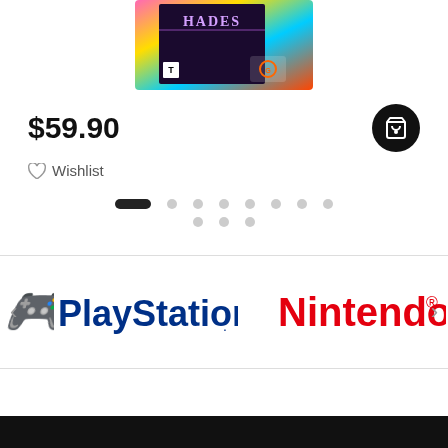[Figure (photo): Hades video game cover with colorful rainbow border, displayed on an e-commerce product page]
$59.90
Wishlist
[Figure (other): Pagination dots: one active elongated black dot followed by multiple grey circular dots]
[Figure (logo): PlayStation logo in dark blue and Nintendo logo in red, shown as brand partners with left/right navigation arrows]